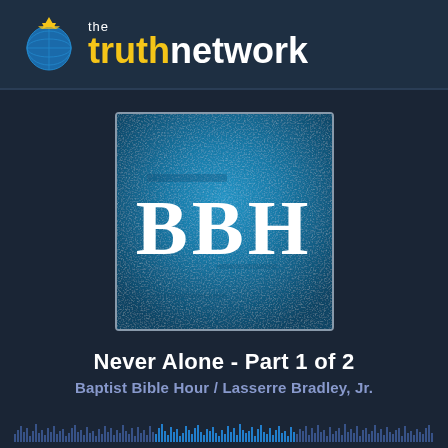[Figure (logo): The Truth Network logo with globe/cross icon, 'the' in white small text, 'truth' in yellow bold, 'network' in white bold]
[Figure (illustration): Album art thumbnail showing 'BBH' letters in white serif font on a blue textured/grunge background]
Never Alone - Part 1 of 2
Baptist Bible Hour / Lasserre Bradley, Jr.
[Figure (other): Audio waveform visualization bar at bottom of screen]